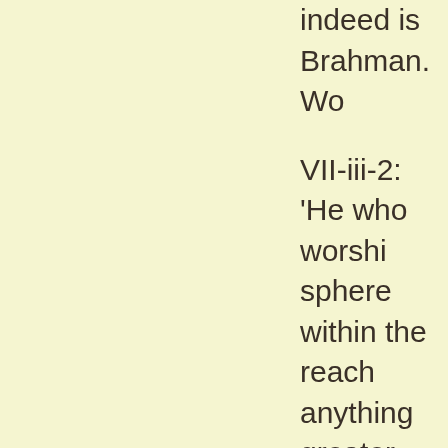indeed is Brahman. Wo...
VII-iii-2: 'He who worships... sphere within the reach... anything greater than m... communicate it to me'.
VII-iv-1: 'Will surely is gr... then he sends forth spe... in sacred formulas the s...
VII-iv-2: 'All these, indee... Heaven and earth willed... these, rain wills. Throug... Through the willing of P... (sacrificial) acts will. Thr... of the world, all things w...
VII-iv-3: 'He who worshi... himself being permanen...